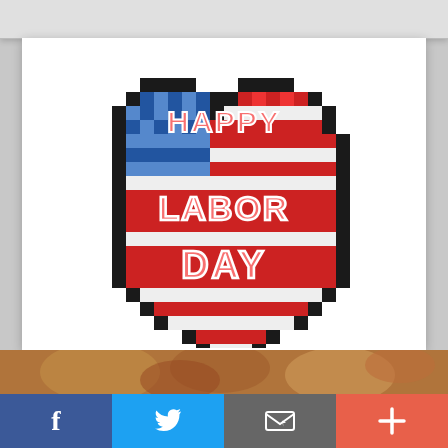[Figure (illustration): Pixel-art heart shape with American flag pattern (blue checkered upper-left, red and white stripes across), with text 'HAPPY LABOR DAY' in pink/salmon block letters outlined in white]
Happy Labor Day Heart Flag Gif
[Figure (photo): Partial view of food items (appears to be baked goods or pastries) in warm brown tones]
[Figure (infographic): Social sharing bar with four buttons: Facebook (blue, f icon), Twitter (light blue, bird icon), Email (gray, envelope icon), More (coral/red, plus icon)]